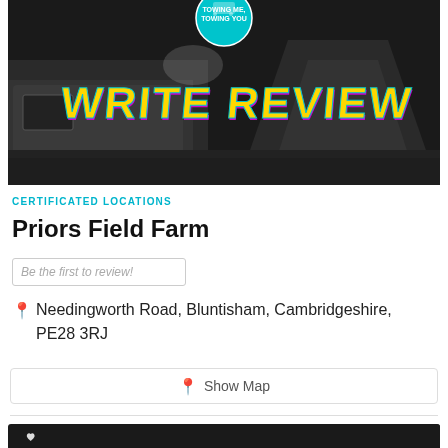[Figure (photo): Black and white promotional image with caravan/tent scene, teal circular logo at top, and bold yellow/magenta 'WRITE REVIEW' text overlay]
CERTIFICATED LOCATIONS
Priors Field Farm
Be the first to review!
Needingworth Road, Bluntisham, Cambridgeshire, PE28 3RJ
Show Map
[Figure (photo): Partial dark/black image at bottom with white heart icon visible]